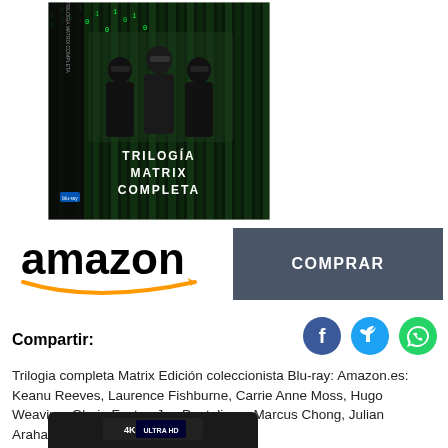[Figure (photo): Matrix Trilogy Complete Collector's Edition Blu-ray box set with green digital rain background and three characters in black sunglasses. Text reads TRILOGÍA MATRIX COMPLETA.]
[Figure (logo): Amazon logo with orange arrow underneath]
COMPRAR
Compartir:
[Figure (infographic): Social share icons: Facebook (blue circle with f), Twitter (blue circle with bird), WhatsApp (green circle with phone)]
Trilogia completa Matrix Edición coleccionista Blu-ray: Amazon.es: Keanu Reeves, Laurence Fishburne, Carrie Anne Moss, Hugo Weaving, Gloria Foster, Joe Pantoliano, Marcus Chong, Julian Arahanga, Steve Bastoni, Don Battee,
[Figure (photo): 4K Ultra HD black disc case product photo, partially visible at bottom of page]